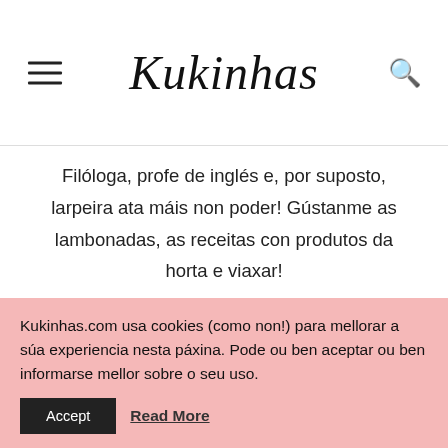Kukinhas
Filóloga, profe de inglés e, por suposto, larpeira ata máis non poder! Gústanme as lambonadas, as receitas con produtos da horta e viaxar!
LER MÁIS
Kukinhas.com usa cookies (como non!) para mellorar a súa experiencia nesta páxina. Pode ou ben aceptar ou ben informarse mellor sobre o seu uso.
Accept
Read More